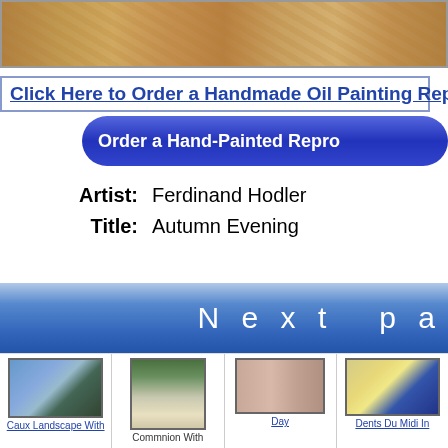[Figure (photo): Cropped painting image strip at top of page showing a detail of an oil painting with warm autumn colors]
Click Here to Order a Handmade Oil Painting Repr...
Order a Hand-Painted Repro...
Artist:  Ferdinand Hodler
Title:  Autumn Evening
Next pa...
[Figure (photo): Thumbnail of Caux Landscape With... painting showing seascape with waves and blue sky]
[Figure (photo): Thumbnail of Commnion With... painting showing a standing nude figure]
[Figure (photo): Thumbnail of Day painting showing multiple figures]
[Figure (photo): Thumbnail of Dents Du Midi In... painting showing mountain landscape]